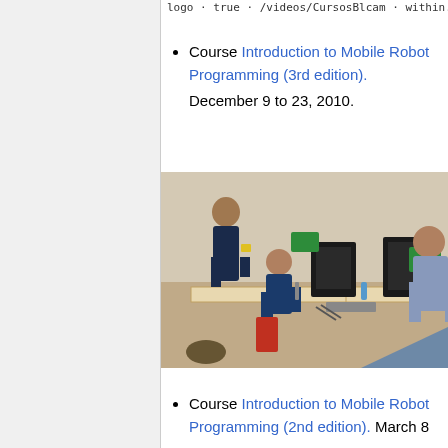logo · true · /videos/CursosBlcam · within...
Course Introduction to Mobile Robot Programming (3rd edition). December 9 to 23, 2010.
[Figure (photo): Students working on mobile robots at lab benches with computers and robot components spread on tables. Three people visible in a classroom/lab setting.]
Course Introduction to Mobile Robot Programming (2nd edition). March 8